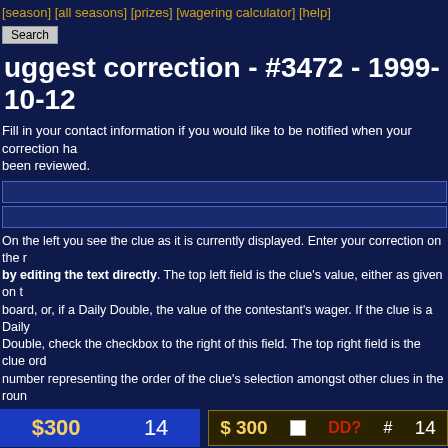[season] [all seasons] [prizes] [wagering calculator] [help]
uggest correction - #3472 - 1999-10-12
Fill in your contact information if you would like to be notified when your correction has been reviewed.
On the left you see the clue as it is currently displayed. Enter your correction on the right by editing the text directly. The top left field is the clue's value, either as given on the board, or, if a Daily Double, the value of the contestant's wager. If the clue is a Daily Double, check the checkbox to the right of this field. The top right field is the clue order number representing the order of the clue's selection amongst other clues in the round. The large blue field is for the clue text, which should be entered as closely as possible how it appears on the show, with the exception that the words should not be all caps. Links to media clue files should be entered with HTML-style hyperlinks. Next come the nicknames of the three contestants in the form of response toggles: single clicks on the name change its color from white (no response) to green (correct response) to red (incorrect response) and back. Below this should be typed the correct response (only the most essential part--it should not be entered in the form of a question). The bottom field on the right is the clue comments field, where dialog (including incorrect responses) can be entered. (Note that the correct response should never be typed in the comments field; rather, it should be denoted by [*].)